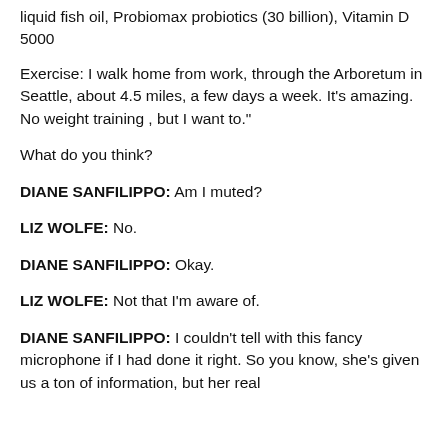liquid fish oil, Probiomax probiotics (30 billion), Vitamin D 5000
Exercise: I walk home from work, through the Arboretum in Seattle, about 4.5 miles, a few days a week. It's amazing. No weight training , but I want to."
What do you think?
DIANE SANFILIPPO: Am I muted?
LIZ WOLFE: No.
DIANE SANFILIPPO: Okay.
LIZ WOLFE: Not that I'm aware of.
DIANE SANFILIPPO: I couldn't tell with this fancy microphone if I had done it right. So you know, she's given us a ton of information, but her real